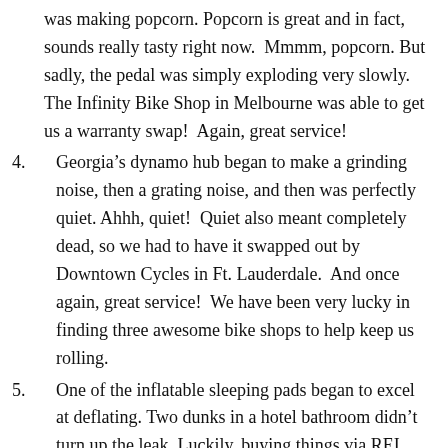was making popcorn. Popcorn is great and in fact, sounds really tasty right now.  Mmmm, popcorn. But sadly, the pedal was simply exploding very slowly.  The Infinity Bike Shop in Melbourne was able to get us a warranty swap!  Again, great service!
4. Georgia’s dynamo hub began to make a grinding noise, then a grating noise, and then was perfectly quiet. Ahhh, quiet!  Quiet also meant completely dead, so we had to have it swapped out by Downtown Cycles in Ft. Lauderdale.  And once again, great service!  We have been very lucky in finding three awesome bike shops to help keep us rolling.
5. One of the inflatable sleeping pads began to excel at deflating. Two dunks in a hotel bathroom didn’t turn up the leak. Luckily, buying things via REI...